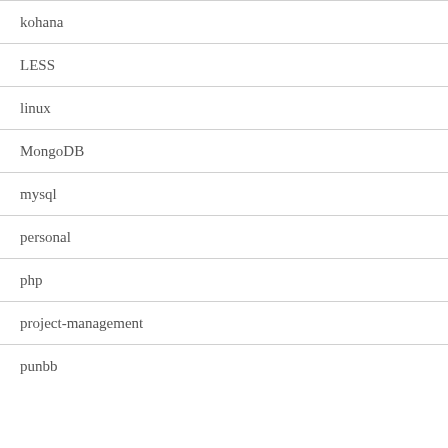kohana
LESS
linux
MongoDB
mysql
personal
php
project-management
punbb